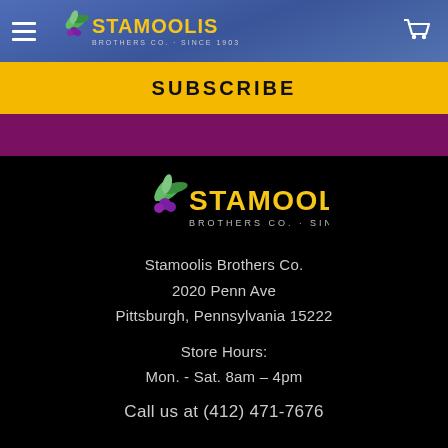STAMOOLIS BROTHERS CO. · SINCE 1903 — Navigation header with hamburger menu and cart icon
SUBSCRIBE
[Figure (logo): Stamoolis Brothers Co. logo with palm leaf graphic and text 'BROTHERS CO. · SINCE 1903']
Stamoolis Brothers Co.
2020 Penn Ave
Pittsburgh, Pennsylvania 15222
Store Hours:
Mon. - Sat. 8am - 4pm
Call us at (412) 471-7676